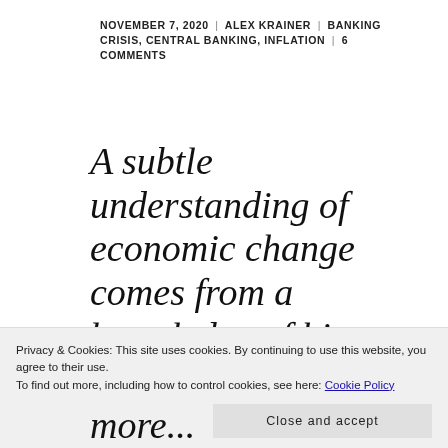NOVEMBER 7, 2020 | ALEX KRAINER | BANKING CRISIS, CENTRAL BANKING, INFLATION | 6 COMMENTS
A subtle understanding of economic change comes from a knowledge of history and large ...
Privacy & Cookies: This site uses cookies. By continuing to use this website, you agree to their use. To find out more, including how to control cookies, see here: Cookie Policy
Close and accept